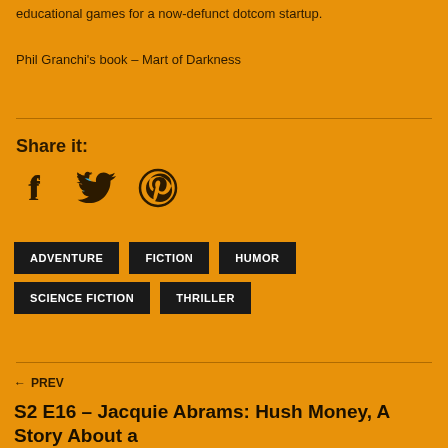educational games for a now-defunct dotcom startup.
Phil Granchi's book – Mart of Darkness
Share it:
[Figure (other): Social share icons: Facebook, Twitter, Pinterest]
ADVENTURE
FICTION
HUMOR
SCIENCE FICTION
THRILLER
← PREV
S2 E16 – Jacquie Abrams: Hush Money, A Story About a